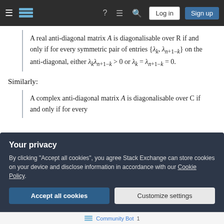Stack Exchange navigation bar with hamburger menu, logo, help, chat, search, Log in, Sign up
A real anti-diagonal matrix A is diagonalisable over R if and only if for every symmetric pair of entries {λ_k, λ_{n+1−k}} on the anti-diagonal, either λ_k λ_{n+1−k} > 0 or λ_k = λ_{n+1−k} = 0.
Similarly:
A complex anti-diagonal matrix A is diagonalisable over C if and only if for every
Your privacy
By clicking "Accept all cookies", you agree Stack Exchange can store cookies on your device and disclose information in accordance with our Cookie Policy.
Accept all cookies
Customize settings
Community Bot 1